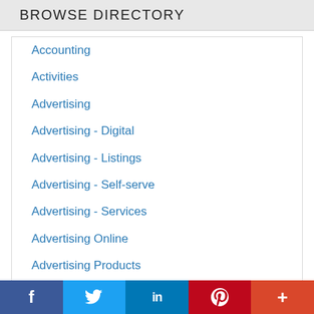BROWSE DIRECTORY
Accounting
Activities
Advertising
Advertising - Digital
Advertising - Listings
Advertising - Self-serve
Advertising - Services
Advertising Online
Advertising Products
Advertising Services
Advertising Specialties
Apartments
f  🐦  in  P  +